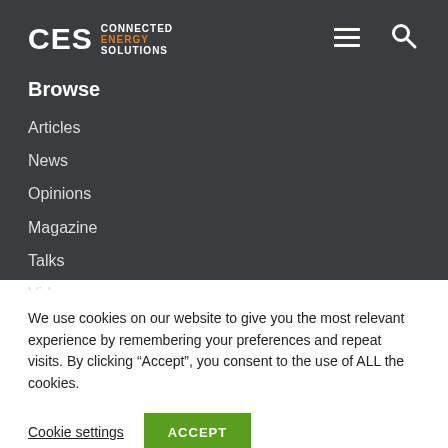CES CONNECTED ENERGY SOLUTIONS
Browse
Articles
News
Opinions
Magazine
Talks
Videos
We use cookies on our website to give you the most relevant experience by remembering your preferences and repeat visits. By clicking “Accept”, you consent to the use of ALL the cookies.
Cookie settings   ACCEPT